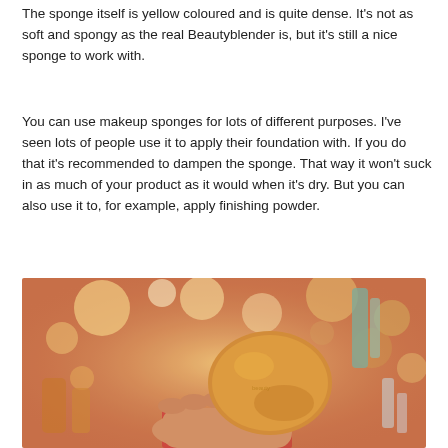The sponge itself is yellow coloured and is quite dense. It's not as soft and spongy as the real Beautyblender is, but it's still a nice sponge to work with.
You can use makeup sponges for lots of different purposes. I've seen lots of people use it to apply their foundation with. If you do that it's recommended to dampen the sponge. That way it won't suck in as much of your product as it would when it's dry. But you can also use it to, for example, apply finishing powder.
[Figure (photo): A hand holding a yellow/orange egg-shaped makeup sponge (beauty blender dupe) in front of a blurred background with bokeh lights and beauty products.]